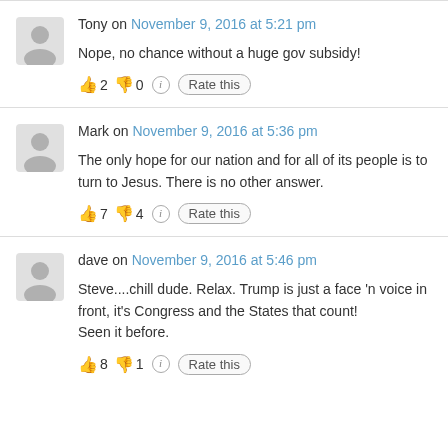Tony on November 9, 2016 at 5:21 pm
Nope, no chance without a huge gov subsidy!
👍 2 👎 0 ℹ Rate this
Mark on November 9, 2016 at 5:36 pm
The only hope for our nation and for all of its people is to turn to Jesus. There is no other answer.
👍 7 👎 4 ℹ Rate this
dave on November 9, 2016 at 5:46 pm
Steve....chill dude. Relax. Trump is just a face 'n voice in front, it's Congress and the States that count! Seen it before.
👍 8 👎 1 ℹ Rate this